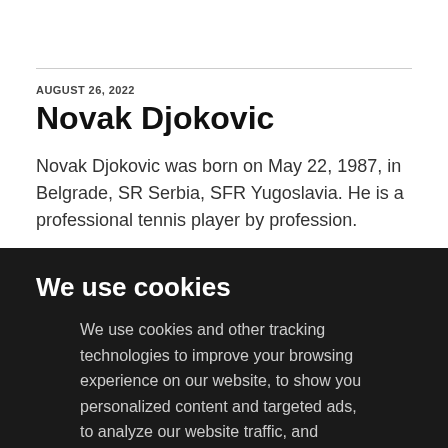AUGUST 26, 2022
Novak Djokovic
Novak Djokovic was born on May 22, 1987, in Belgrade, SR Serbia, SFR Yugoslavia. He is a professional tennis player by profession.
We use cookies
We use cookies and other tracking technologies to improve your browsing experience on our website, to show you personalized content and targeted ads, to analyze our website traffic, and